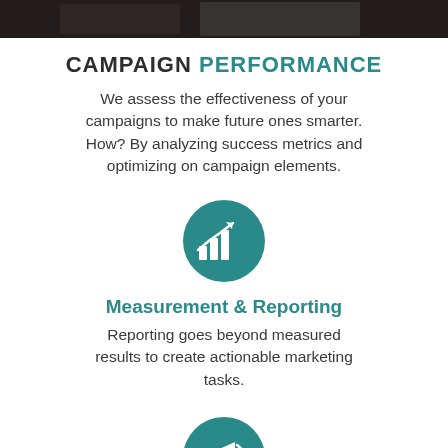[Figure (photo): Dark photographic image strip at top of page]
CAMPAIGN PERFORMANCE
We assess the effectiveness of your campaigns to make future ones smarter. How? By analyzing success metrics and optimizing on campaign elements.
[Figure (illustration): Teal circle icon with a bar chart and upward arrow representing growth/analytics]
Measurement & Reporting
Reporting goes beyond measured results to create actionable marketing tasks.
[Figure (illustration): Teal circle icon with a megaphone/bullhorn representing marketing/campaigns]